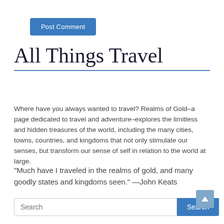[Figure (other): Blue 'Post Comment' button]
All Things Travel
Where have you always wanted to travel? Realms of Gold–a page dedicated to travel and adventure–explores the limitless and hidden treasures of the world, including the many cities, towns, countries, and kingdoms that not only stimulate our senses, but transform our sense of self in relation to the world at large.
"Much have I traveled in the realms of gold, and many goodly states and kingdoms seen." —John Keats
[Figure (other): Search bar with text input and blue Search button, plus a scroll-to-top arrow button on the right]